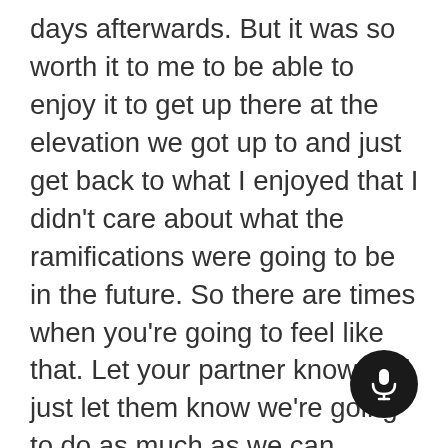days afterwards. But it was so worth it to me to be able to enjoy it to get up there at the elevation we got up to and just get back to what I enjoyed that I didn't care about what the ramifications were going to be in the future. So there are times when you're going to feel like that. Let your partner know and just let them know we're going to do as much as we can. Same thing I did when I walked a lot around New Orleans. We took the trial into the French Quarter. And we walked basically a big circle around the French Quarter from the trolley, all the way down to Cafe Du Monde over up another street through Jackson Square, just a great time. And we walked a long ways that day. I was exhausted by the time we got back to the hotel room,
[Figure (other): Microphone button UI element — dark circular button with microphone icon]